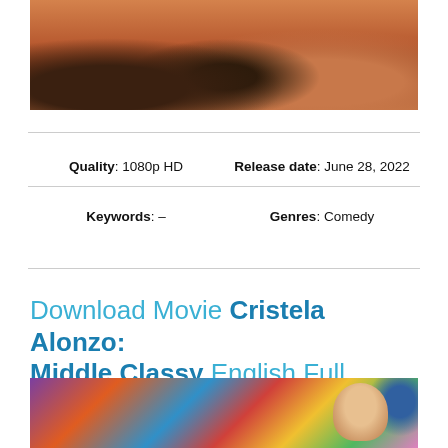[Figure (photo): Desert scene with figures sitting near a wooden structure on red sand dunes]
| Quality: 1080p HD | Release date: June 28, 2022 |
| Keywords: – | Genres: Comedy |
Download Movie Cristela Alonzo: Middle Classy English Full Online
[Figure (photo): Colorful artistic image with a woman's face and vibrant abstract shapes]